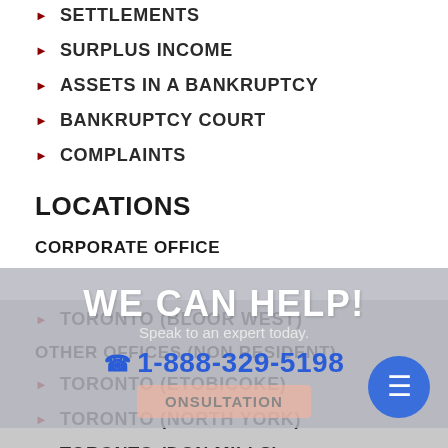PREFERENCES
SETTLEMENTS
SURPLUS INCOME
ASSETS IN A BANKRUPTCY
BANKRUPTCY COURT
COMPLAINTS
LOCATIONS
CORPORATE OFFICE
TORONTO (BLOOR WEST)
OTHER OFFICES (NON RESIDENT)
TORONTO (ETOBICOKE)
TORONTO (NORTH YORK)
TORONTO (DON MILLS)
WE CAN HELP! Speak to an expert today. 1-888-329-5198